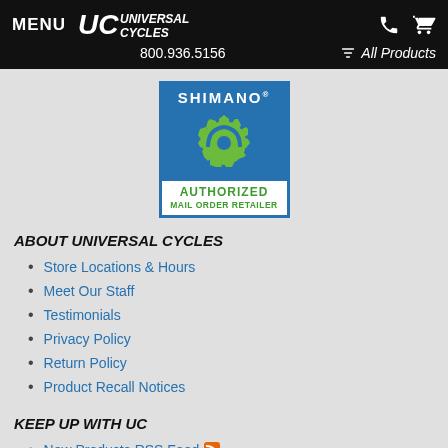MENU | UC UNIVERSAL CYCLES | 800.936.5156 | All Products
[Figure (logo): Shimano Authorized Mail Order Retailer badge with gear logo on blue background]
ABOUT UNIVERSAL CYCLES
Store Locations & Hours
Meet Our Staff
Testimonials
Privacy Policy
Return Policy
Product Recall Notices
KEEP UP WITH UC
New Products RSS Feed